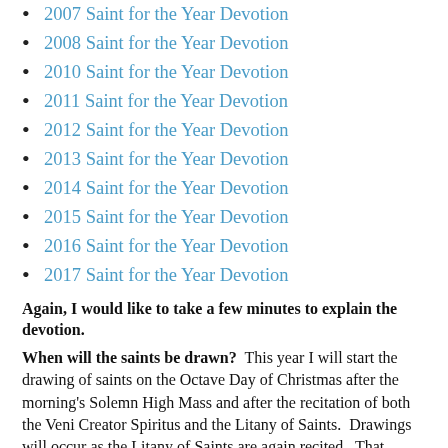2007 Saint for the Year Devotion
2008 Saint for the Year Devotion
2010 Saint for the Year Devotion
2011 Saint for the Year Devotion
2012 Saint for the Year Devotion
2013 Saint for the Year Devotion
2014 Saint for the Year Devotion
2015 Saint for the Year Devotion
2016 Saint for the Year Devotion
2017 Saint for the Year Devotion
Again, I would like to take a few minutes to explain the devotion.
When will the saints be drawn?  This year I will start the drawing of saints on the Octave Day of Christmas after the morning's Solemn High Mass and after the recitation of both the Veni Creator Spiritus and the Litany of Saints.  Drawings will occur as the Litany of Saints are again recited.  That